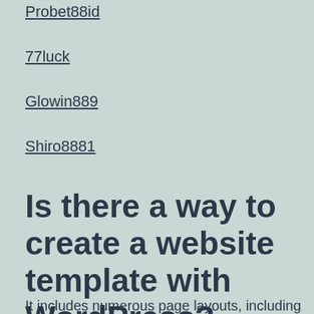Probet88id
77luck
Glowin889
Shiro8881
Is there a way to create a website template with WordPress?
It includes numerous page layouts, including